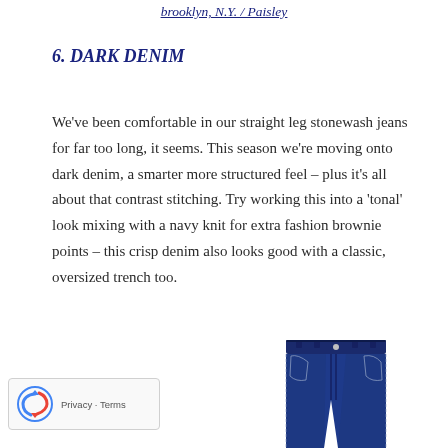brooklyn, N.Y. / Paisley
6. DARK DENIM
We've been comfortable in our straight leg stonewash jeans for far too long, it seems. This season we're moving onto dark denim, a smarter more structured feel – plus it's all about that contrast stitching. Try working this into a 'tonal' look mixing with a navy knit for extra fashion brownie points – this crisp denim also looks good with a classic, oversized trench too.
[Figure (photo): Dark navy denim jeans photographed against a white background, showing waistband and upper portion of the jeans]
[Figure (other): reCAPTCHA badge with Privacy and Terms links]